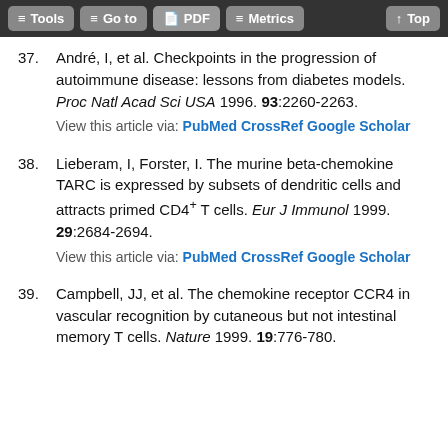Tools | Go to | PDF | Metrics | Top
37. André, I, et al. Checkpoints in the progression of autoimmune disease: lessons from diabetes models. Proc Natl Acad Sci USA 1996. 93:2260-2263.
View this article via: PubMed CrossRef Google Scholar
38. Lieberam, I, Forster, I. The murine beta-chemokine TARC is expressed by subsets of dendritic cells and attracts primed CD4+ T cells. Eur J Immunol 1999. 29:2684-2694.
View this article via: PubMed CrossRef Google Scholar
39. Campbell, JJ, et al. The chemokine receptor CCR4 in vascular recognition by cutaneous but not intestinal memory T cells. Nature 1999. 19:776-780.